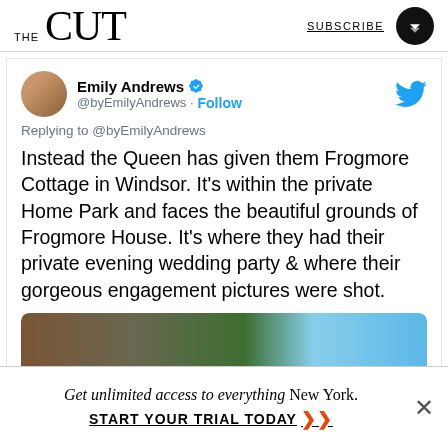THE CUT | SUBSCRIBE
Emily Andrews @byEmilyAndrews · Follow
Replying to @byEmilyAndrews
Instead the Queen has given them Frogmore Cottage in Windsor. It's within the private Home Park and faces the beautiful grounds of Frogmore House. It's where they had their private evening wedding party & where their gorgeous engagement pictures were shot.
[Figure (photo): Photo of Frogmore Cottage exterior showing brick building with trees and blue sky]
Get unlimited access to everything New York. START YOUR TRIAL TODAY ▶▶